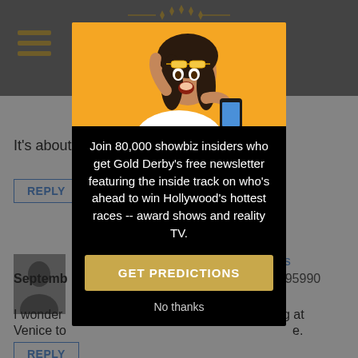[Figure (screenshot): Background webpage with gray header, hamburger menu, article comments section with reply buttons and user avatar]
[Figure (photo): Modal popup with woman looking surprised at phone on orange background]
Join 80,000 showbiz insiders who get Gold Derby's free newsletter featuring the inside track on who's ahead to win Hollywood's hottest races -- award shows and reality TV.
GET PREDICTIONS
No thanks